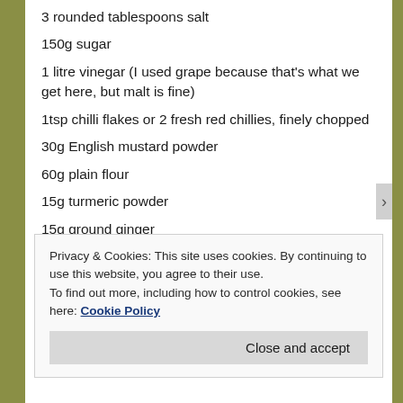3 rounded tablespoons salt
150g sugar
1 litre vinegar (I used grape because that's what we get here, but malt is fine)
1tsp chilli flakes or 2 fresh red chillies, finely chopped
30g English mustard powder
60g plain flour
15g turmeric powder
15g ground ginger
Privacy & Cookies: This site uses cookies. By continuing to use this website, you agree to their use.
To find out more, including how to control cookies, see here: Cookie Policy
Close and accept